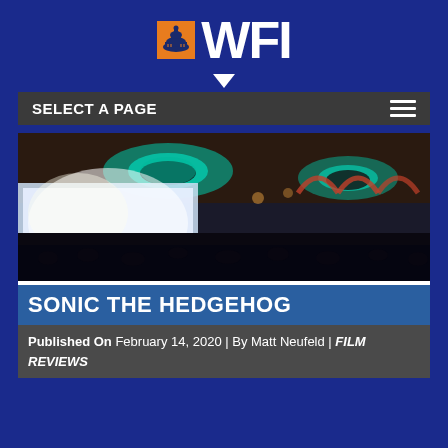[Figure (logo): WFI logo with orange capitol building icon and large white WFI text on dark blue background]
[Figure (photo): Theater interior with glowing teal chandeliers, large projection screen, audience silhouettes, ornate red arch details]
SONIC THE HEDGEHOG
Published On February 14, 2020 | By Matt Neufeld | FILM REVIEWS